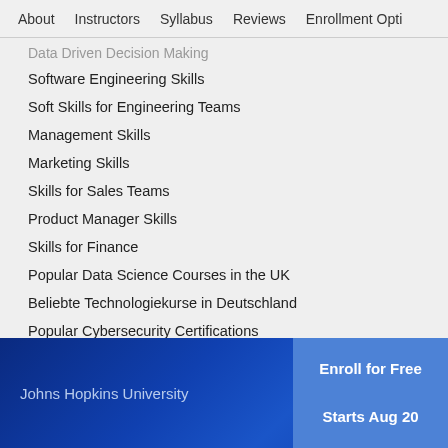About   Instructors   Syllabus   Reviews   Enrollment Opti
Data Driven Decision Making
Software Engineering Skills
Soft Skills for Engineering Teams
Management Skills
Marketing Skills
Skills for Sales Teams
Product Manager Skills
Skills for Finance
Popular Data Science Courses in the UK
Beliebte Technologiekurse in Deutschland
Popular Cybersecurity Certifications
Johns Hopkins University
Enroll for Free
Starts Aug 20